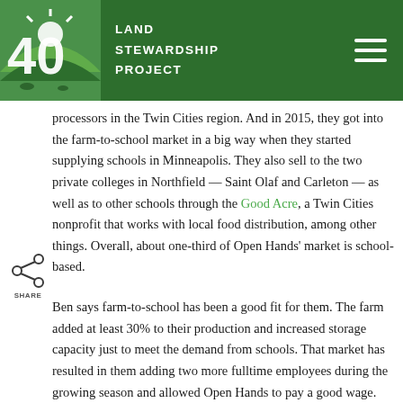Land Stewardship Project
processors in the Twin Cities region. And in 2015, they got into the farm-to-school market in a big way when they started supplying schools in Minneapolis. They also sell to the two private colleges in Northfield — Saint Olaf and Carleton — as well as to other schools through the Good Acre, a Twin Cities nonprofit that works with local food distribution, among other things. Overall, about one-third of Open Hands' market is school-based.
Ben says farm-to-school has been a good fit for them. The farm added at least 30% to their production and increased storage capacity just to meet the demand from schools. That market has resulted in them adding two more fulltime employees during the growing season and allowed Open Hands to pay a good wage. The farm has regularly supplied eight different kinds of vegetables to schools, including carrots, cabbages, beets, and kale. Fall is their busiest time with school markets, but storage crops like carrots offer a way to move product into cafeterias over the winter as well.
Ben says in normal times, schools are a consistent market, in